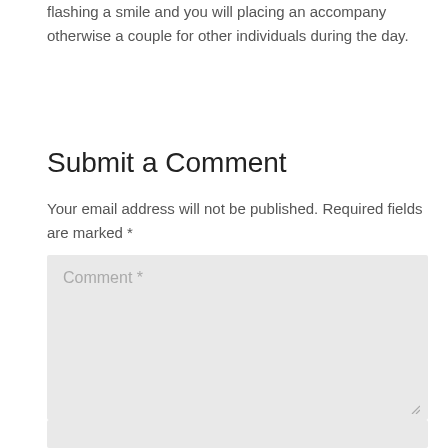flashing a smile and you will placing an accompany otherwise a couple for other individuals during the day.
Submit a Comment
Your email address will not be published. Required fields are marked *
[Figure (other): Comment text area input field with placeholder text 'Comment *' and a resize handle at the bottom right corner]
[Figure (other): Input field at the bottom of the page, light grey background]